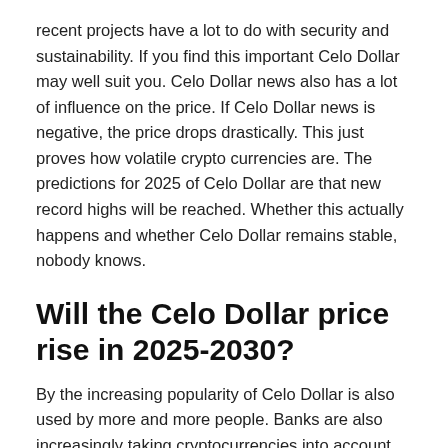recent projects have a lot to do with security and sustainability. If you find this important Celo Dollar may well suit you. Celo Dollar news also has a lot of influence on the price. If Celo Dollar news is negative, the price drops drastically. This just proves how volatile crypto currencies are. The predictions for 2025 of Celo Dollar are that new record highs will be reached. Whether this actually happens and whether Celo Dollar remains stable, nobody knows.
Will the Celo Dollar price rise in 2025-2030?
By the increasing popularity of Celo Dollar is also used by more and more people. Banks are also increasingly taking cryptocurrencies into account. The predictions for Celo Dollar are that it can rise considerably in the future. Experts also say that Celo Dollar has certainly not reached its ceiling yet. The new projects and updates play an